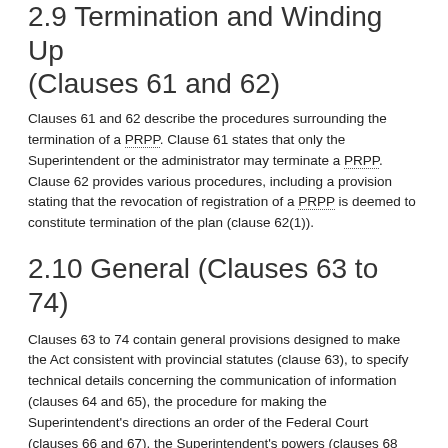2.9 Termination and Winding Up (Clauses 61 and 62)
Clauses 61 and 62 describe the procedures surrounding the termination of a PRPP. Clause 61 states that only the Superintendent or the administrator may terminate a PRPP. Clause 62 provides various procedures, including a provision stating that the revocation of registration of a PRPP is deemed to constitute termination of the plan (clause 62(1)).
2.10 General (Clauses 63 to 74)
Clauses 63 to 74 contain general provisions designed to make the Act consistent with provincial statutes (clause 63), to specify technical details concerning the communication of information (clauses 64 and 65), the procedure for making the Superintendent's directions an order of the Federal Court (clauses 66 and 67), the Superintendent's powers (clauses 68 and 69), and the scope of the PRPP agreements (clauses 71 to 73).
Clause 68 provides that in addition to any other action that the Superintendent may take in respect of a PRPP the Superintendent may institute against the administrator,